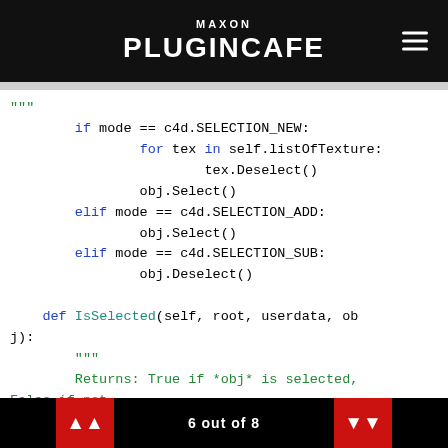MAXON PLUGINCAFE
Code block showing Python plugin code for Cinema 4D: selection mode handling and IsSelected method definition with docstring.
6 out of 8